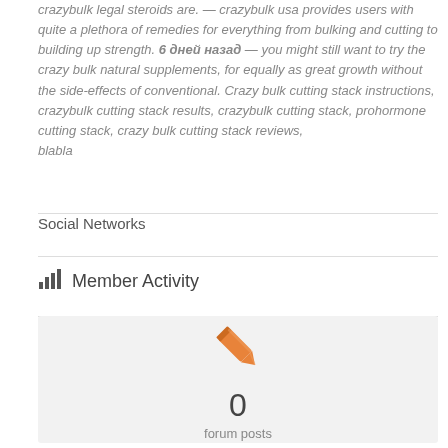crazybulk legal steroids are. — crazybulk usa provides users with quite a plethora of remedies for everything from bulking and cutting to building up strength. 6 дней назад — you might still want to try the crazy bulk natural supplements, for equally as great growth without the side-effects of conventional. Crazy bulk cutting stack instructions, crazybulk cutting stack results, crazybulk cutting stack, prohormone cutting stack, crazy bulk cutting stack reviews, blabla
Social Networks
Member Activity
[Figure (other): Orange pencil icon above the number 0 and the text 'forum posts']
0
forum posts